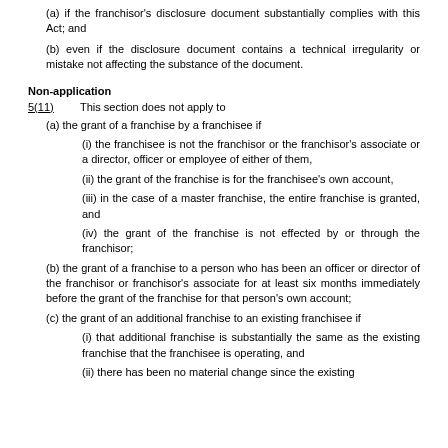(a) if the franchisor's disclosure document substantially complies with this Act; and
(b) even if the disclosure document contains a technical irregularity or mistake not affecting the substance of the document.
Non-application
5(11)   This section does not apply to
(a) the grant of a franchise by a franchisee if
(i) the franchisee is not the franchisor or the franchisor's associate or a director, officer or employee of either of them,
(ii) the grant of the franchise is for the franchisee's own account,
(iii) in the case of a master franchise, the entire franchise is granted, and
(iv) the grant of the franchise is not effected by or through the franchisor;
(b) the grant of a franchise to a person who has been an officer or director of the franchisor or franchisor's associate for at least six months immediately before the grant of the franchise for that person's own account;
(c) the grant of an additional franchise to an existing franchisee if
(i) that additional franchise is substantially the same as the existing franchise that the franchisee is operating, and
(ii) there has been no material change since the existing franchise was...